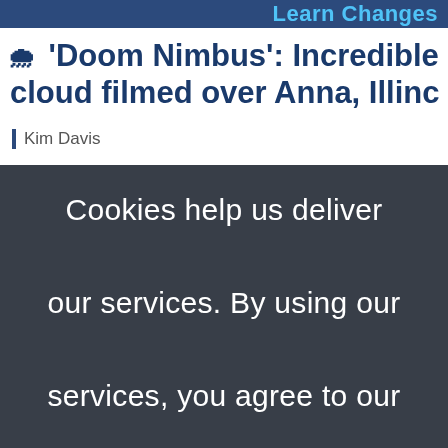Learn Changes
🌧 'Doom Nimbus': Incredible cloud filmed over Anna, Illinc
Kim Davis
Cookies help us deliver our services. By using our services, you agree to our use of cookies. Learn more
OK